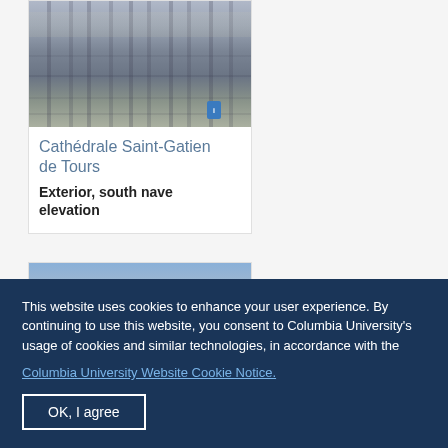[Figure (photo): Photograph of the exterior of Cathédrale Saint-Gatien de Tours showing Gothic architecture with large ornate windows and stone facade, south nave elevation view]
Cathédrale Saint-Gatien de Tours
Exterior, south nave elevation
[Figure (photo): Partial photograph of another church exterior showing towers against a blue sky]
This website uses cookies to enhance your user experience. By continuing to use this website, you consent to Columbia University's usage of cookies and similar technologies, in accordance with the
Columbia University Website Cookie Notice.
OK, I agree